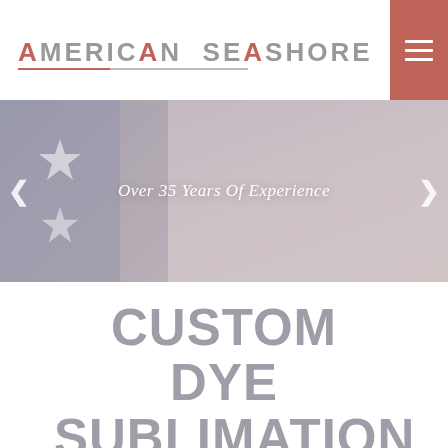AMERICAN SEASHORE
[Figure (photo): Hero banner image with person working, American flag stars on left, overlaid text reading 'Over 35 Years Of Experience', with left and right navigation arrows]
CUSTOM DYE SUBLIMATION NEAR ME IN AMELIA ISLAND